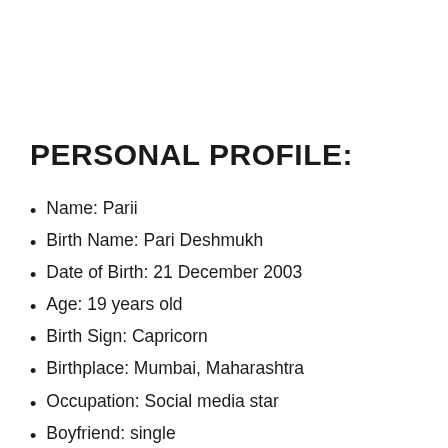PERSONAL PROFILE:
Name: Parii
Birth Name: Pari Deshmukh
Date of Birth: 21 December 2003
Age: 19 years old
Birth Sign: Capricorn
Birthplace: Mumbai, Maharashtra
Occupation: Social media star
Boyfriend: single
Marital Status: Unmarried
Nationality: Indian